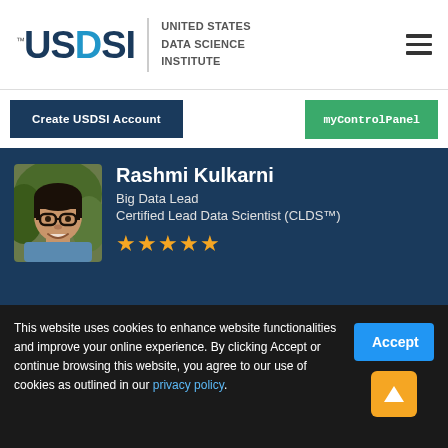[Figure (logo): USDSI - United States Data Science Institute logo with hamburger menu icon]
Create USDSI Account
myControlPanel
[Figure (photo): Profile photo of Rashmi Kulkarni, a person with glasses smiling]
Rashmi Kulkarni
Big Data Lead
Certified Lead Data Scientist (CLDS™)
★★★★★
The program has excellent content and certainly gives you a lot of confidence after reading the
This website uses cookies to enhance website functionalities and improve your online experience. By clicking Accept or continue browsing this website, you agree to our use of cookies as outlined in our privacy policy.
Accept